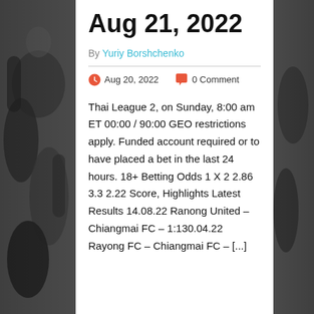Aug 21, 2022
By Yuriy Borshchenko
Aug 20, 2022   0 Comment
Thai League 2, on Sunday, 8:00 am ET 00:00 / 90:00 GEO restrictions apply. Funded account required or to have placed a bet in the last 24 hours. 18+ Betting Odds 1 X 2 2.86 3.3 2.22 Score, Highlights Latest Results 14.08.22 Ranong United – Chiangmai FC – 1:130.04.22 Rayong FC – Chiangmai FC – [...]